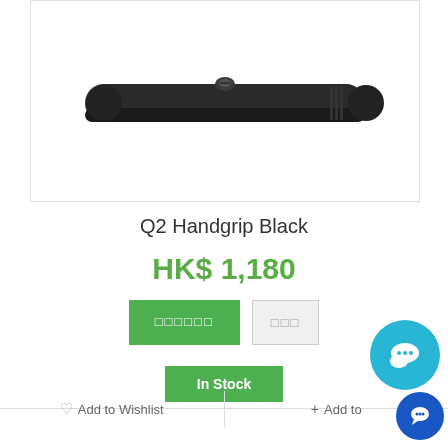[Figure (photo): Product photo of Q2 Handgrip Black - a black elongated camera handgrip accessory with textured grip and mounting screw, shown against white background]
Q2 Handgrip Black
HK$ 1,180
In Stock
Add to Wishlist
+ Add to
[Figure (photo): Bottom portion of a second product image showing a black camera accessory, partially visible]